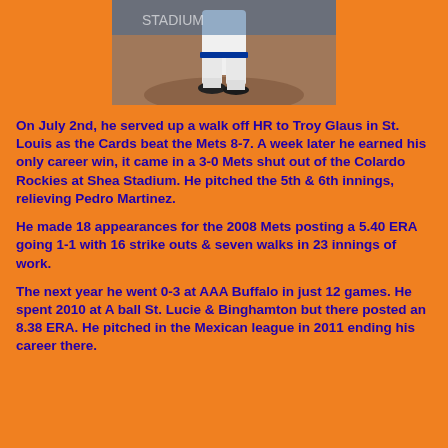[Figure (photo): Baseball player photographed from the waist down, wearing white uniform pants and black cleats, standing on a pitching mound]
On July 2nd, he served up a walk off HR to Troy Glaus in St. Louis as the Cards beat the Mets 8-7. A week later he earned his only career win, it came in a 3-0 Mets shut out of the Colardo Rockies at Shea Stadium. He pitched the 5th & 6th innings, relieving Pedro Martinez.
He made 18 appearances for the 2008 Mets posting a 5.40 ERA going 1-1 with 16 strike outs & seven walks in 23 innings of work.
The next year he went 0-3 at AAA Buffalo in just 12 games. He spent 2010 at A ball St. Lucie & Binghamton but there posted an 8.38 ERA. He pitched in the Mexican league in 2011 ending his career there.